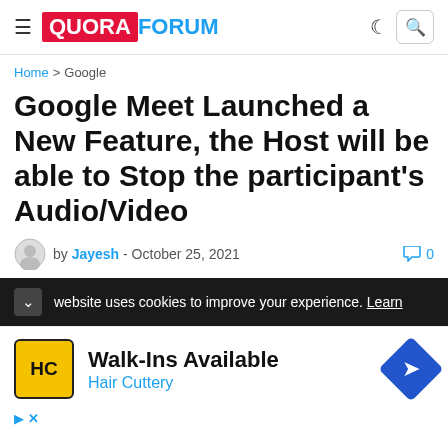≡ QUORA FORUM
Home > Google
Google Meet Launched a New Feature, the Host will be able to Stop the participant's Audio/Video
by Jayesh - October 25, 2021   💬 0
website uses cookies to improve your experience. Learn
Walk-Ins Available
Hair Cuttery